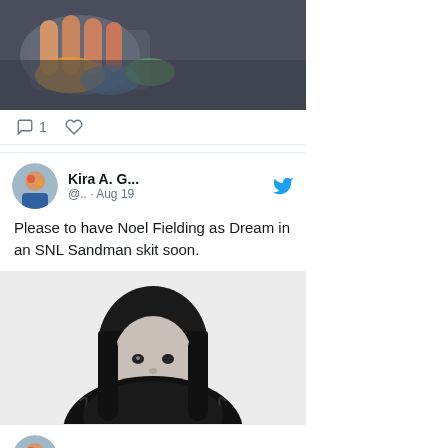[Figure (screenshot): Top portion of a tweet card showing a cropped photo of hands/knitting with colorful yarn on dark background]
1
[Figure (photo): Twitter avatar for Kira A. G... - colorful artistic profile photo]
Kira A. G... @.. · Aug 19
Please to have Noel Fielding as Dream in an SNL Sandman skit soon.
[Figure (photo): Black and white photo of a person with black fringe hair wearing a black fluffy/feathered coat, looking sideways]
7
[Figure (photo): Twitter avatar for Kira A. G... - same colorful artistic profile photo]
Kira A. G...